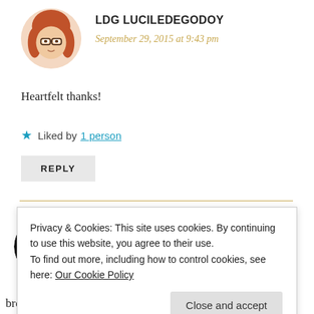[Figure (illustration): Circular avatar of a woman with red hair and glasses, warm skin tones]
LDG LUCILEDEGODOY
September 29, 2015 at 9:43 pm
Heartfelt thanks!
★ Liked by 1 person
REPLY
[Figure (illustration): Circular avatar, dark/black and white image, partial view]
PHOENIXGREY85
Privacy & Cookies: This site uses cookies. By continuing to use this website, you agree to their use.
To find out more, including how to control cookies, see here: Our Cookie Policy
Close and accept
breath and appreciate what's around us. Not just race